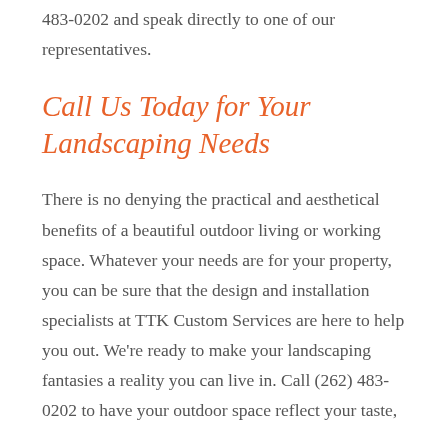483-0202 and speak directly to one of our representatives.
Call Us Today for Your Landscaping Needs
There is no denying the practical and aesthetical benefits of a beautiful outdoor living or working space. Whatever your needs are for your property, you can be sure that the design and installation specialists at TTK Custom Services are here to help you out. We're ready to make your landscaping fantasies a reality you can live in. Call (262) 483-0202 to have your outdoor space reflect your taste,